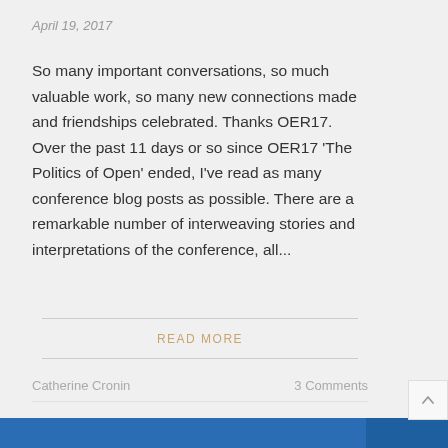April 19, 2017
So many important conversations, so much valuable work, so many new connections made and friendships celebrated. Thanks OER17. Over the past 11 days or so since OER17 'The Politics of Open' ended, I've read as many conference blog posts as possible. There are a remarkable number of interweaving stories and interpretations of the conference, all...
READ MORE
Catherine Cronin
3 Comments